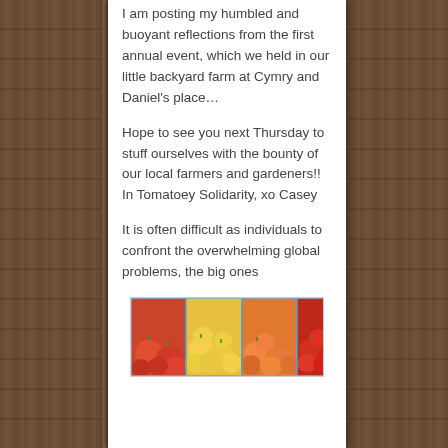I am posting my humbled and buoyant reflections from the first annual event, which we held in our little backyard farm at Cymry and Daniel's place...
Hope to see you next Thursday to stuff ourselves with the bounty of our local farmers and gardeners!! In Tomatoey Solidarity, xo Casey
It is often difficult as individuals to confront the overwhelming global problems, the big ones
[Figure (photo): Photograph of colorful tomatoes arranged in blue cardboard pint containers, showing red, yellow, and orange cherry/grape tomatoes]